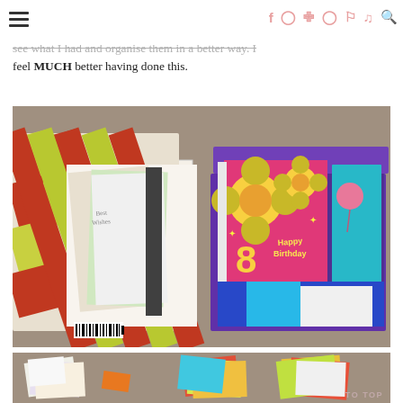Greeting cards are very much sentimental items for me, so I will purge these later or buy just needed to see what I had and organise them in a better way. I feel MUCH better having done this.
[Figure (photo): Two open boxes filled with greeting cards and papers. On the left is a decorative box with a red and green diamond pattern, open showing various cards and papers inside. On the right is a purple shoebox also full of greeting cards including a colorful 'Happy 8th Birthday' card with flower designs.]
[Figure (photo): Partial view of greeting cards spread out on a carpeted surface, with a 'TO TOP' label visible.]